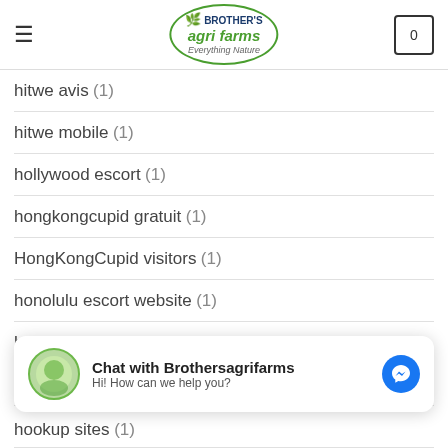Brother's Agri Farms - Everything Nature
hitwe avis (1)
hitwe mobile (1)
hollywood escort (1)
hongkongcupid gratuit (1)
HongKongCupid visitors (1)
honolulu escort website (1)
hookup apps for couples scam (1)
hookup come funziona (1)
hookup sites (1)